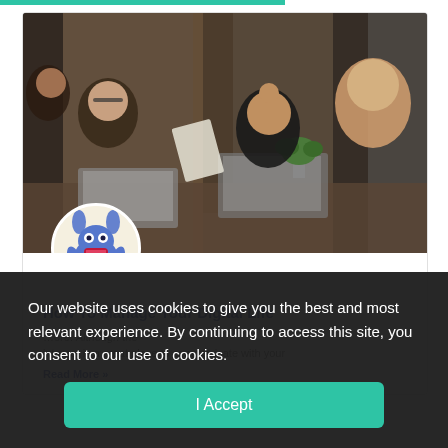[Figure (photo): Group of young professionals sitting around a table with laptops, papers, and a plant, having a meeting in a modern workspace with dark wooden pillars in the background.]
[Figure (illustration): Circular avatar logo showing a blue cartoon monster character with rabbit ears, multiple eyes, antennae, and small yellow feet on a cream/white background.]
How To Manage Your Digital Life
...ore. Although the internet is a great place to communicate with your
Read More »
Our website uses cookies to give you the best and most relevant experience. By continuing to access this site, you consent to our use of cookies.
I Accept